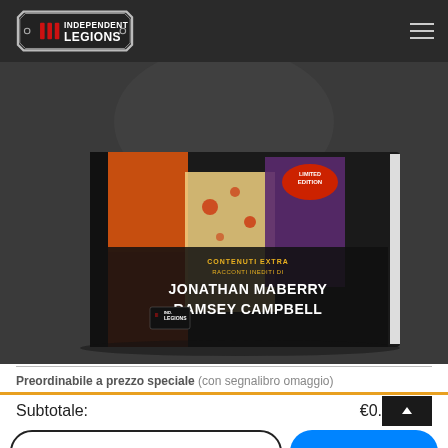Independent Legions
[Figure (photo): Book cover image for an Independent Legions publication featuring horror artwork with zombies/monsters, Limited Edition badge, text: CONTENUTI EXTRA RACCONTI INEDITI DI JONATHAN MABERRY RAMSEY CAMPBELL]
Preordinabile a prezzo speciale (con segnalibro omaggio)
Subtotale: €0.
PAGAMENTO
Message Us